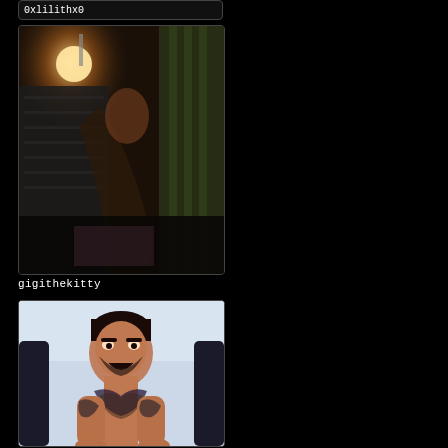0xlilithx0
[Figure (photo): Webcam thumbnail showing a dimly lit room with warm lamp light, person in dark mesh clothing, dark background]
gigithekitty
[Figure (photo): Webcam thumbnail showing a heavily tattooed shirtless man with dark hair, mouth open, sitting in a gaming chair in a bright room]